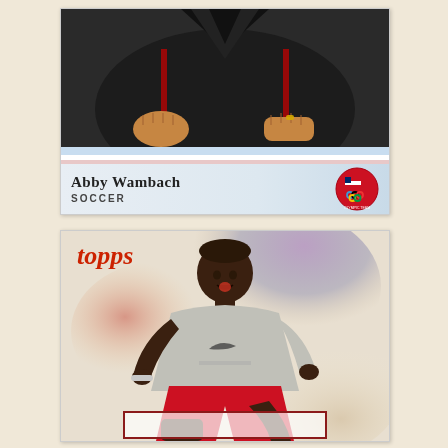[Figure (photo): Topps trading card for Abby Wambach, Soccer. Shows athlete in dark jacket pulling it open, with USA Olympic Team badge on the right. Blue and red striped background at bottom of photo. Name in serif font at bottom left.]
[Figure (photo): Topps trading card showing a male runner/soccer player in gray Nike jersey and red shorts, sprinting forward with mouth open. Colorful watercolor-style background of purples, reds and beiges. Topps logo in red italic at top left. Red-bordered nameplate at bottom.]